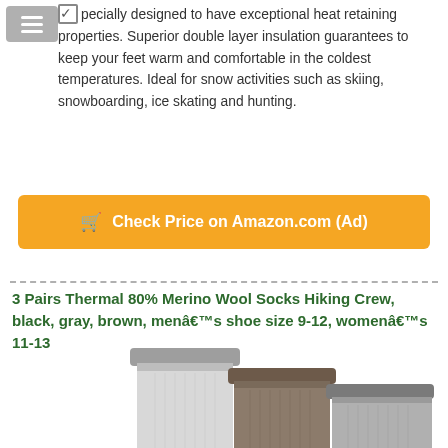Specially designed to have exceptional heat retaining properties. Superior double layer insulation guarantees to keep your feet warm and comfortable in the coldest temperatures. Ideal for snow activities such as skiing, snowboarding, ice skating and hunting.
Check Price on Amazon.com (Ad)
3 Pairs Thermal 80% Merino Wool Socks Hiking Crew, black, gray, brown, menâs shoe size 9-12, womenâs 11-13
[Figure (photo): Three wool socks standing upright showing different heights and colors: light gray, brown/dark gray, and medium gray]